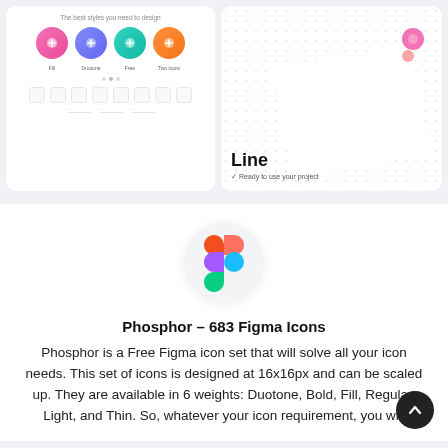[Figure (screenshot): Two UI cards: left card shows icon style options (Fill, Duotone, Free, Two-tone) with colorful circle icons and small icon previews; right card shows a 'Line' icon set with dot grid background and a pink badge, text says 'Line' and 'Ready to use your project']
[Figure (logo): Figma logo — four colored shapes forming the Figma wordmark symbol: red and pink top, purple and blue middle, green bottom]
Phosphor – 683 Figma Icons
Phosphor is a Free Figma icon set that will solve all your icon needs. This set of icons is designed at 16x16px and can be scaled up. They are available in 6 weights: Duotone, Bold, Fill, Regular, Light, and Thin. So, whatever your icon requirement, you will